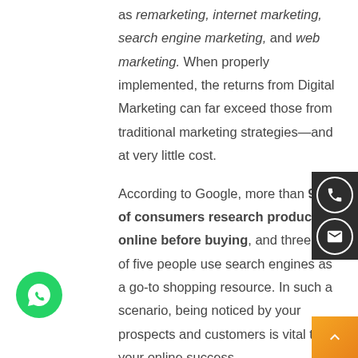as remarketing, internet marketing, search engine marketing, and web marketing. When properly implemented, the returns from Digital Marketing can far exceed those from traditional marketing strategies—and at very little cost.

According to Google, more than 90% of consumers research products online before buying, and three out of five people use search engines as a go-to shopping resource. In such a scenario, being noticed by your prospects and customers is vital to your online success.

Digital Marketing is a high growth industry